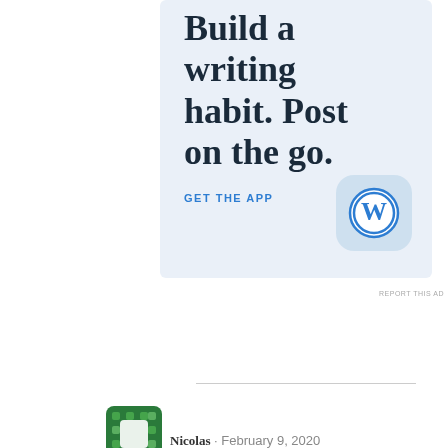[Figure (screenshot): WordPress app advertisement with light blue background. Large serif text reads 'Build a writing habit. Post on the go.' with a blue 'GET THE APP' call-to-action link and a WordPress 'W' app icon on the right.]
REPORT THIS AD
Nicolas · February 9, 2020